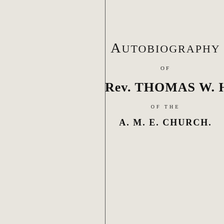AUTOBIOGRAPHY
OF
Rev. THOMAS W. HE[NDERSON]
OF THE
A. M. E. CHURCH.